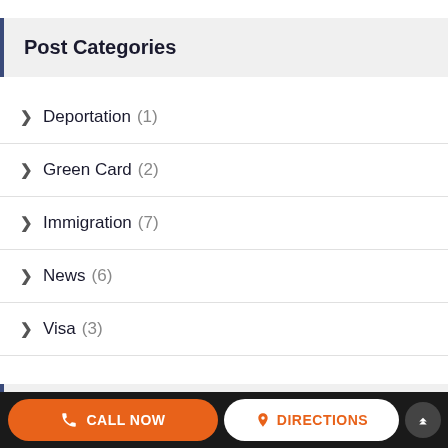Post Categories
Deportation (1)
Green Card (2)
Immigration (7)
News (6)
Visa (3)
Post Tags
CALL NOW   DIRECTIONS